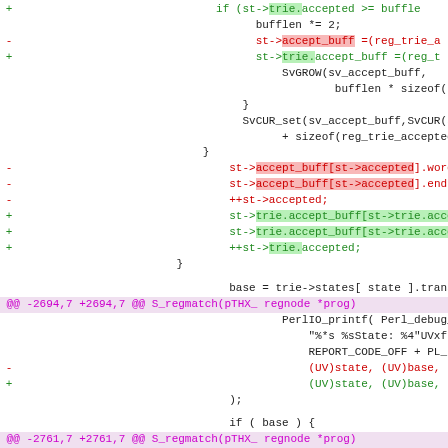[Figure (screenshot): A unified diff (patch) view of source code changes, showing added lines in green, removed lines in red, context lines in black, and hunk headers in magenta/purple. The code relates to regex trie matching in Perl source.]